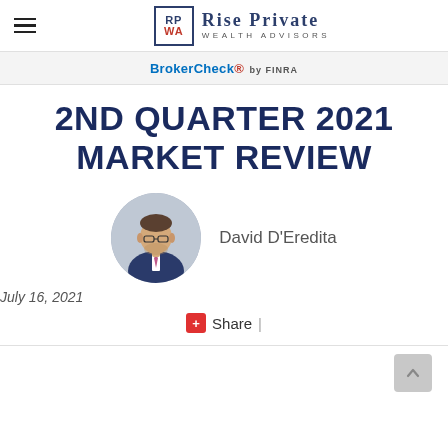Rise Private Wealth Advisors
BrokerCheck by FINRA
2ND QUARTER 2021 MARKET REVIEW
[Figure (photo): Headshot photo of David D'Eredita, a man in a suit with glasses, circular crop]
David D'Eredita
July 16, 2021
+ Share |